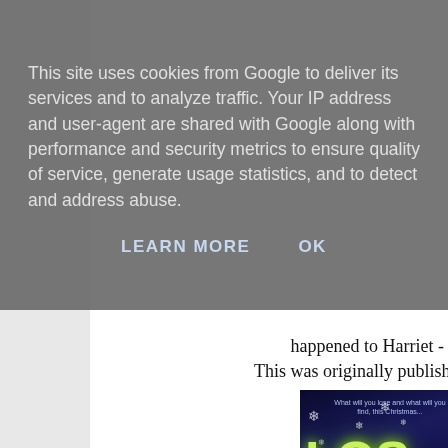This site uses cookies from Google to deliver its services and to analyze traffic. Your IP address and user-agent are shared with Google along with performance and security metrics to ensure quality of service, generate usage statistics, and to detect and address abuse.
LEARN MORE   OK
happened to Harriet -
This was originally published in 1994 but has bee...
[Figure (photo): Book cover showing 'Lost Christmas' title with blue/dark night winter scene, glowing green-yellow LOS text, white CHRISTM text, snowflakes, and a glowing tree]